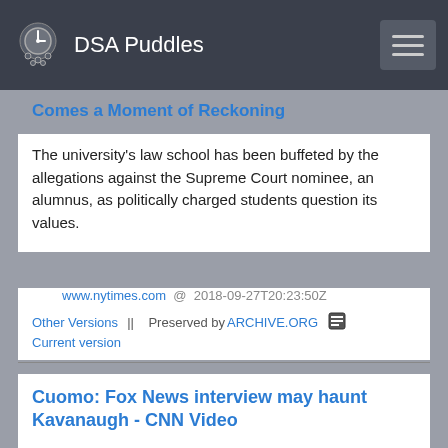DSA Puddles
Comes a Moment of Reckoning
The university's law school has been buffeted by the allegations against the Supreme Court nominee, an alumnus, as politically charged students question its values.
www.nytimes.com @ 2018-09-27T20:23:50Z
Other Versions || Preserved by ARCHIVE.ORG Current version
Cuomo: Fox News interview may haunt Kavanaugh - CNN Video
CNN's Chris Cuomo takes a look at what's on the line for Brett Kavanaugh ahead of his testimony before the Senate Judiciary Committee.